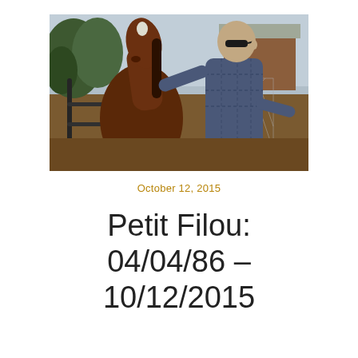[Figure (photo): A man wearing sunglasses and a blue checkered shirt stands next to a dark brown horse at a farm. He is petting/touching the horse's face. Metal gates and fencing are visible, with trees and a barn structure in the background.]
October 12, 2015
Petit Filou: 04/04/86 – 10/12/2015